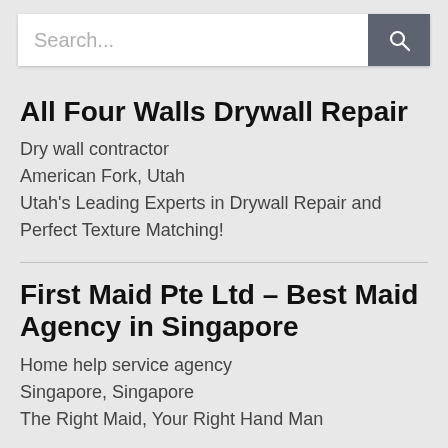[Figure (screenshot): Search bar with text input field showing placeholder 'Search...' and a dark gray search button with magnifying glass icon]
All Four Walls Drywall Repair
Dry wall contractor
American Fork, Utah
Utah’s Leading Experts in Drywall Repair and Perfect Texture Matching!
First Maid Pte Ltd – Best Maid Agency in Singapore
Home help service agency
Singapore, Singapore
The Right Maid, Your Right Hand Man